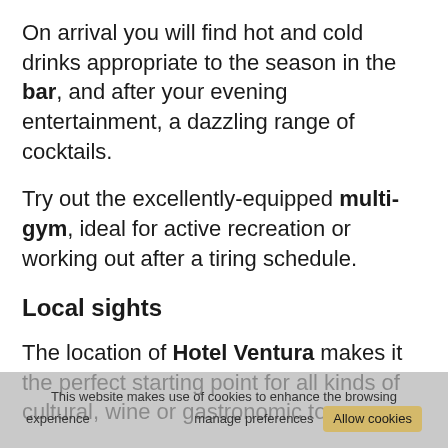On arrival you will find hot and cold drinks appropriate to the season in the bar, and after your evening entertainment, a dazzling range of cocktails.
Try out the excellently-equipped multi-gym, ideal for active recreation or working out after a tiring schedule.
Local sights
The location of Hotel Ventura makes it the perfect starting point for all kinds of cultural, wine or gastronomic tours.
Near the hotel is the CAMPONA Shopping and Entertainment Centre, one of the largest in Budapest. It houses Central Europe's largest